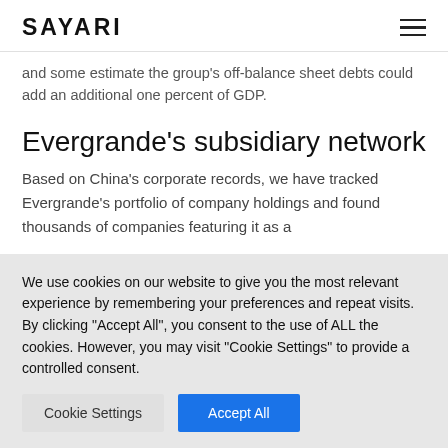SAYARI
and some estimate the group's off-balance sheet debts could add an additional one percent of GDP.
Evergrande's subsidiary network
Based on China's corporate records, we have tracked Evergrande's portfolio of company holdings and found thousands of companies featuring it as a
We use cookies on our website to give you the most relevant experience by remembering your preferences and repeat visits. By clicking "Accept All", you consent to the use of ALL the cookies. However, you may visit "Cookie Settings" to provide a controlled consent.